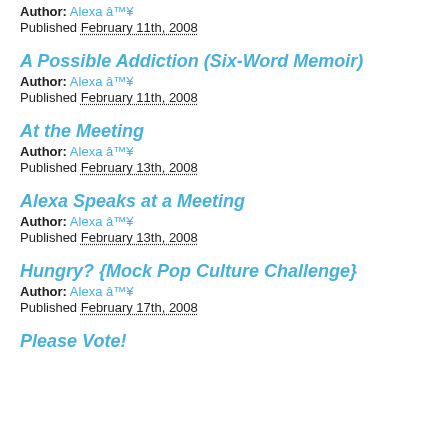Author: Alexa â™¥
Published February 11th, 2008
A Possible Addiction (Six-Word Memoir)
Author: Alexa â™¥
Published February 11th, 2008
At the Meeting
Author: Alexa â™¥
Published February 13th, 2008
Alexa Speaks at a Meeting
Author: Alexa â™¥
Published February 13th, 2008
Hungry? {Mock Pop Culture Challenge}
Author: Alexa â™¥
Published February 17th, 2008
Please Vote!